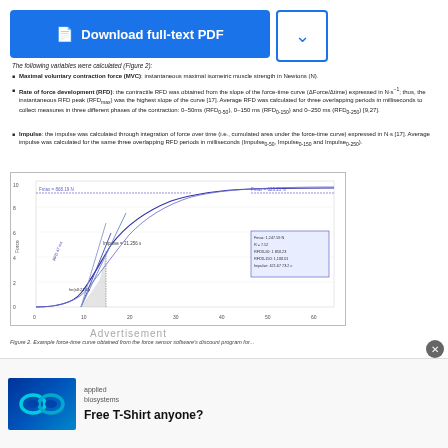[Figure (other): Blue Download full-text PDF button with document icon]
The following variables were calculated (Figure 2):
Maximal voluntary contraction force (MVC): instantaneous maximal isometric muscle strength in Newtons (N).
Rate of force development (RFD): the contractile RFD was obtained from the slope of the force-time curve (ΔForce/Δtime) expressed in N·s⁻¹; thus, the instantaneous RFD peak (RFDmax) was the highest slope of the curve [17]. Average RFD was calculated for three overlapping periods in milliseconds to collect measures in three different phases of the contraction: 0–50ms (RFD0-50), 0–150 ms (RFD0-150) and 0–250 ms (RFD0-250) [9,27].
Impulse: the impulse was calculated through integration of force over time (i.e., cumulated area under the force-time curve) expressed in N·s [17]. Average impulse was calculated for the same three overlapping RFD periods in milliseconds (Impulse0-50, Impulse0-150 and Impulse0-250).
[Figure (continuous-plot): Force-time curve graph showing RFD measurements, force development curve with shaded impulse area, annotations for Fmax values, RFD slopes, and impulse values. X-axis: time in ms, Y-axis: force (normalized). Blue curves with gray shaded area showing 0-50ms and 0-250ms windows.]
Figure 2. Example force-time curve obtained from the force sensor software's discount program for...
[Figure (other): Advertisement: Applied Biosystems logo with infinity symbol on blue background. Text: Free T-Shirt anyone?]